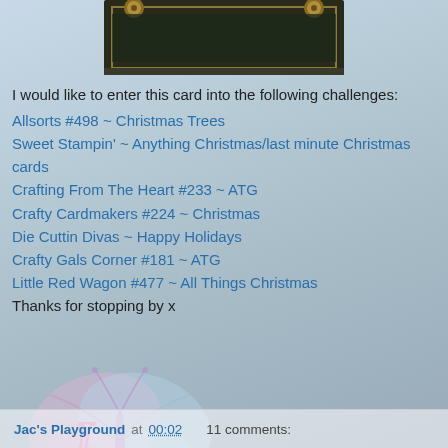[Figure (photo): Top portion of a crafted card with dark background, decorative elements, and gold circular embellishments visible at top]
I would like to enter this card into the following challenges:
Allsorts #498 ~ Christmas Trees
Sweet Stampin' ~ Anything Christmas/last minute Christmas cards
Crafting From The Heart #233 ~ ATG
Crafty Cardmakers #224 ~ Christmas
Die Cuttin Divas ~ Happy Holidays
Crafty Gals Corner #181 ~ ATG
Little Red Wagon #477 ~ All Things Christmas
Thanks for stopping by x
[Figure (illustration): Butterfly signature logo with cursive 'Jac' text in pink and teal colors]
Jac's Playground at 00:02   11 comments: